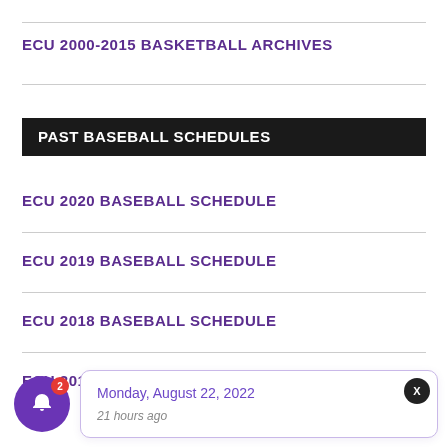ECU 2000-2015 BASKETBALL ARCHIVES
PAST BASEBALL SCHEDULES
ECU 2020 BASEBALL SCHEDULE
ECU 2019 BASEBALL SCHEDULE
ECU 2018 BASEBALL SCHEDULE
ECU 2017 BASE...
Monday, August 22, 2022
21 hours ago